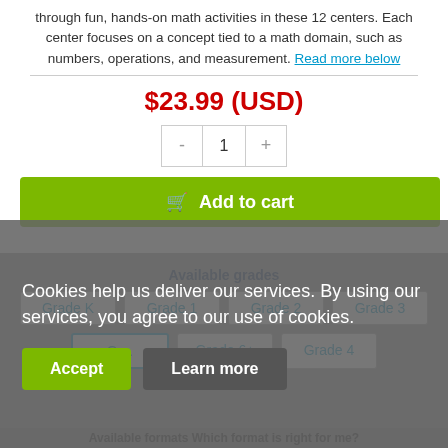through fun, hands-on math activities in these 12 centers. Each center focuses on a concept tied to a math domain, such as numbers, operations, and measurement. Read more below
$23.99 (USD)
- 1 +
Add to cart
Available grades
Grade K  Grade 1  Grade 2  Grade 3
Gr...  Grade 6+  Grade 4
Cookies help us deliver our services. By using our services, you agree to our use of cookies.
Accept  Learn more
Available formats Which format is right for me?